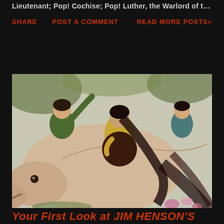Lieutenant; Pop! Cochise; Pop! Luther, the Warlord of th ...
SHARE  POST A COMMENT  READ MORE POSTS»
[Figure (illustration): Anime/manga-style illustration showing multiple characters riding on a large pale creature. One character wears green on the left, a central character wears a yellow and dark jacket, and another character is visible on the right in teal. The creature appears to be a large pale animal with an elongated snout.]
Your First Look at JIM HENSON'S